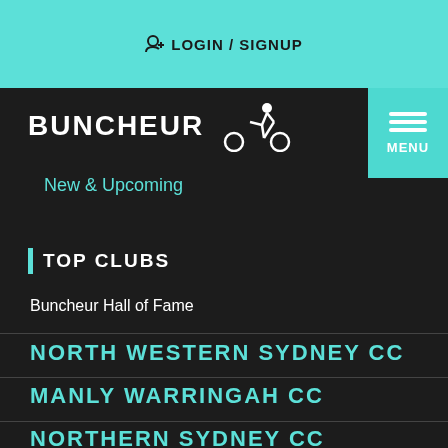👤+ LOGIN / SIGNUP
BUNCHEUR 🚴
New & Upcoming
| TOP CLUBS
Buncheur Hall of Fame
NORTH WESTERN SYDNEY CC
MANLY WARRINGAH CC
NORTHERN SYDNEY CC